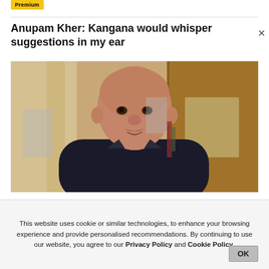Premium
Anupam Kher: Kangana would whisper suggestions in my ear
[Figure (photo): Photo of Anupam Kher, an older bald man with a mustache, wearing a black shirt, standing indoors with wooden panels in the background.]
This website uses cookie or similar technologies, to enhance your browsing experience and provide personalised recommendations. By continuing to use our website, you agree to our Privacy Policy and Cookie Policy.